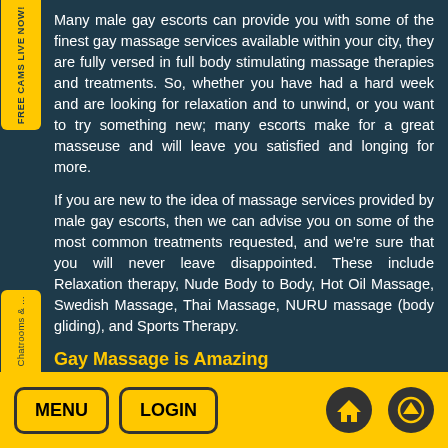Many male gay escorts can provide you with some of the finest gay massage services available within your city, they are fully versed in full body stimulating massage therapies and treatments. So, whether you have had a hard week and are looking for relaxation and to unwind, or you want to try something new; many escorts make for a great masseuse and will leave you satisfied and longing for more.
If you are new to the idea of massage services provided by male gay escorts, then we can advise you on some of the most common treatments requested, and we're sure that you will never leave disappointed. These include Relaxation therapy, Nude Body to Body, Hot Oil Massage, Swedish Massage, Thai Massage, NURU massage (body gliding), and Sports Therapy.
Gay Massage is Amazing
MENU  LOGIN